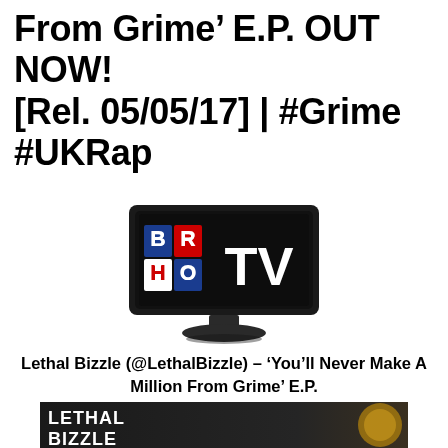From Grime' E.P. OUT NOW! [Rel. 05/05/17] | #Grime #UKRap
[Figure (logo): Brit Hop TV logo — a black flat-screen television displaying the text BRIT HOP TV with BRIT in red/blue block letters and TV in large white letters]
Lethal Bizzle (@LethalBizzle) – 'You'll Never Make A Million From Grime' E.P.
[Figure (photo): Dark promotional image showing large white block letters LETHAL BIZZLE at the bottom with a dark background and a golden/yellow circular object to the right]